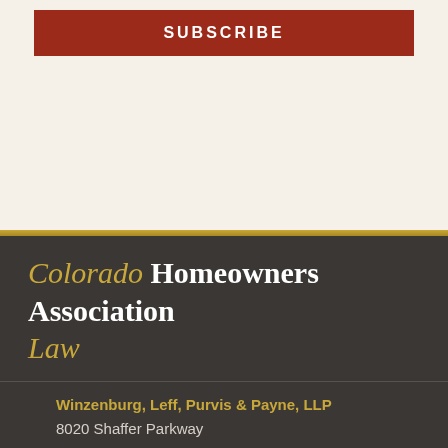SUBSCRIBE
Colorado Homeowners Association Law
Winzenburg, Leff, Purvis & Payne, LLP
8020 Shaffer Parkway
Suite 300
Littleton, CO 80127
Phone: (303) 863-1870
[Figure (logo): RSS feed icon (orange) and Twitter bird icon (blue)]
Disclaimer | Privacy Policy